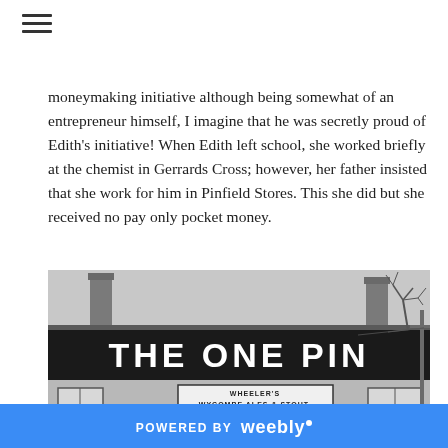moneymaking initiative although being somewhat of an entrepreneur himself, I imagine that he was secretly proud of Edith's initiative! When Edith left school, she worked briefly at the chemist in Gerrards Cross; however, her father insisted that she work for him in Pinfield Stores. This she did but she received no pay only pocket money.
[Figure (photo): Black and white historical photograph of a pub building called 'The One Pin' with a sign reading 'Wheeler's Wycombe Ales & Stout' below the main fascia. A person is visible standing in the doorway.]
POWERED BY weebly